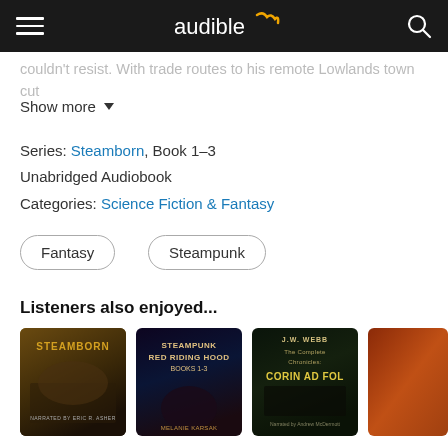audible
couldn't resist. With trade routes to his remote Lowlands town cut
Show more
Series: Steamborn, Book 1-3
Unabridged Audiobook
Categories: Science Fiction & Fantasy
Fantasy
Steampunk
Listeners also enjoyed...
[Figure (illustration): Book cover: Steamborn fantasy audiobook cover showing two figures in a canyon landscape with steam/smoke]
[Figure (illustration): Book cover: Steampunk Red Riding Hood Books 1-3 by Melanie Karsak, dark fantasy cover with wolf and girl imagery]
[Figure (illustration): Book cover: The Complete Chronicles: Corin Ad Fol by J.W. Webb, narrated by Andrew McDermott, dark fantasy collage]
[Figure (illustration): Partially visible book cover with orange/red tones]